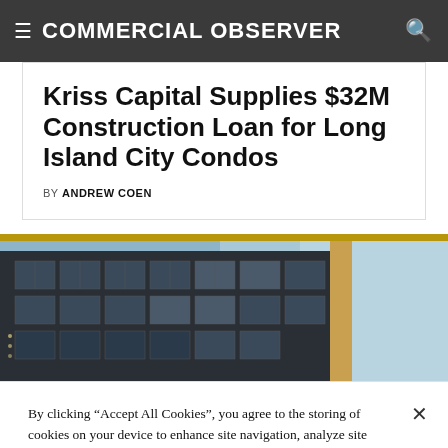COMMERCIAL OBSERVER
Kriss Capital Supplies $32M Construction Loan for Long Island City Condos
BY ANDREW COEN
[Figure (photo): Exterior photo of a modern commercial/residential building with large windows against a blue sky, with a gold accent bar above the image.]
By clicking "Accept All Cookies", you agree to the storing of cookies on your device to enhance site navigation, analyze site usage, and assist in our marketing efforts.
Cookies Settings   Accept All Cookies